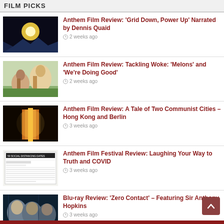FILM PICKS
Anthem Film Review: ‘Grid Down, Power Up’ Narrated by Dennis Quaid — 2 weeks ago
Anthem Film Review: Tackling Woke: ‘Melons’ and ‘We’re Doing Good’ — 2 weeks ago
Anthem Film Review: A Tale of Two Communist Cities – Hong Kong and Berlin — 3 weeks ago
Anthem Film Festival Review: Laughing Your Way to Truth and COVID — 3 weeks ago
Blu-ray Review: ‘Zero Contact’ – Featuring Sir Anthony Hopkins — 3 weeks ago